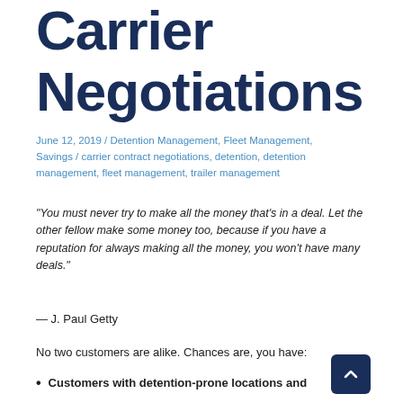Carrier Negotiations
June 12, 2019 / Detention Management, Fleet Management, Savings / carrier contract negotiations, detention, detention management, fleet management, trailer management
“You must never try to make all the money that’s in a deal. Let the other fellow make some money too, because if you have a reputation for always making all the money, you won’t have many deals.”
— J. Paul Getty
No two customers are alike. Chances are, you have:
Customers with detention-prone locations and